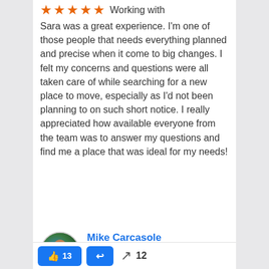Working with Sara was a great experience. I'm one of those people that needs everything planned and precise when it come to big changes. I felt my concerns and questions were all taken care of while searching for a new place to move, especially as I'd not been planning to on such short notice. I really appreciated how available everyone from the team was to answer my questions and find me a place that was ideal for my needs!
Mike Carcasole
3 years ago
I worked with Amanda to find a place to rent in Liberty Village and she was a pleasure to work with. She was